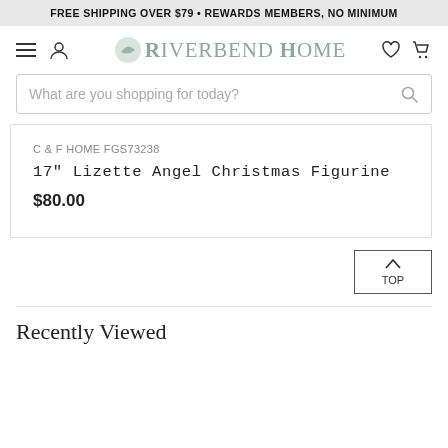FREE SHIPPING OVER $79 • REWARDS MEMBERS, NO MINIMUM
[Figure (logo): Riverbend Home logo with navigation icons: hamburger menu, user account, heart/wishlist, shopping cart]
What are you shopping for today?
C & F HOME FGS73238
17" Lizette Angel Christmas Figurine
$80.00
TOP
Recently Viewed